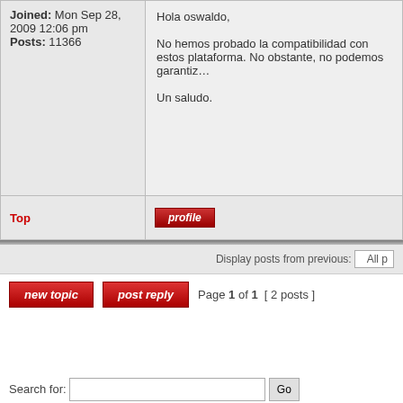Joined: Mon Sep 28, 2009 12:06 pm
Posts: 11366
Hola oswaldo,

No hemos probado la compatibilidad con estos plataforma. No obstante, no podemos garantiz...

Un saludo.
Top
profile
Display posts from previous: All p
new topic   post reply   Page 1 of 1  [ 2 posts ]
Search for:
Powered by phpBB
Libelium theme based on 610...
© Libelium Comu...